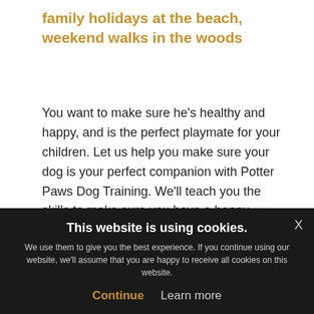family holidays at the beach, weekend walks in the woods
You want to make sure he's healthy and happy, and is the perfect playmate for your children. Let us help you make sure your dog is your perfect companion with Potter Paws Dog Training. We'll teach you the skills to make sure you have a happy, fulfilled and healthy dog who makes your family complete.
Our ethos is that training is for life, not just for puppies! Potter Paws offers you ongoing support and training opportunities, from when puppy first comes home, as he
This website is using cookies.
We use them to give you the best experience. If you continue using our website, we'll assume that you are happy to receive all cookies on this website.
Continue   Learn more